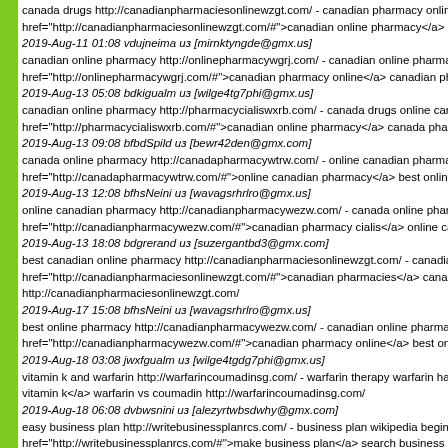canada drugs http://canadianpharmaciesonlinewzgt.com/ - canadian pharmacy online be href="http://canadianpharmaciesonlinewzgt.com/#">canadian online pharmacy</a> cana 2019-Aug-11 01:08 vdujneima из [mirnktyngde@gmx.us]
canadian online pharmacy http://onlinepharmacywgrj.com/ - canadian online pharmacy d href="http://onlinepharmacywgrj.com/#">canadian pharmacy online</a> canadian pharma 2019-Aug-13 05:08 bdkigualm из [wilge4tg7phi@gmx.us]
canadian online pharmacy http://pharmacycialiswxrb.com/ - canada drugs online canada href="http://pharmacycialiswxrb.com/#">canadian online pharmacy</a> canada pharmacy 2019-Aug-13 09:08 bfbdSpild из [bewr42den@gmx.com]
canada online pharmacy http://canadapharmacywtrw.com/ - online canadian pharmacy ca href="http://canadapharmacywtrw.com/#">online canadian pharmacy</a> best online pha 2019-Aug-13 12:08 bfhsNeini из [wavagsrhrlro@gmx.us]
online canadian pharmacy http://canadianpharmacywezw.com/ - canada online pharmacy href="http://canadianpharmacywezw.com/#">canadian pharmacy cialis</a> online canadi 2019-Aug-13 18:08 bdgrerand из [suzergantbd3@gmx.com]
best canadian online pharmacy http://canadianpharmaciesonlinewzgt.com/ - canadian on href="http://canadianpharmaciesonlinewzgt.com/#">canadian pharmacies</a> canadian p http://canadianpharmaciesonlinewzgt.com/ 2019-Aug-17 15:08 bfhsNeini из [wavagsrhrlro@gmx.us]
best online pharmacy http://canadianpharmacywezw.com/ - canadian online pharmacy ca href="http://canadianpharmacywezw.com/#">canadian pharmacy online</a> best online p 2019-Aug-18 03:08 jwxfgualm из [wilge4tgdg7phi@gmx.us]
vitamin k and warfarin http://warfarincoumadinsg.com/ - warfarin therapy warfarin half life vitamin k</a> warfarin vs coumadin http://warfarincoumadinsg.com/ 2019-Aug-18 06:08 dvbwsnini из [alezyrtwbsdwhy@gmx.com]
easy business plan http://writebusinessplanrcs.com/ - business plan wikipedia beginners href="http://writebusinessplanrcs.com/#">make business plan</a> search business plan h 2019-Aug-18 14:08 jmioerand из [suzergioantbd3@gmx.com]
lexapro generic http://escitalopramlexaprofs.com/ - generic for escitalopram side effects le href="http://escitalopramlexaprofs.com/#">lexapro withdrawal</a> escitalopram and upro 2019-Aug-18 18:08 mhllemema из [ger34hfhiallfgli@gmx.com]
custom uk dissertation http://dissertationwritingxwgb.com/ - professional dissertation writi